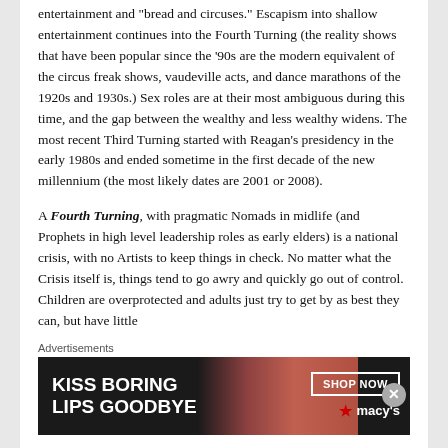entertainment and 'bread and circuses.' Escapism into shallow entertainment continues into the Fourth Turning (the reality shows that have been popular since the '90s are the modern equivalent of the circus freak shows, vaudeville acts, and dance marathons of the 1920s and 1930s.)  Sex roles are at their most ambiguous during this time,  and the gap between the wealthy and less wealthy widens.   The most recent Third Turning started with Reagan's presidency in the early 1980s and ended sometime in the first decade of the new millennium (the most likely dates are 2001 or 2008).
A Fourth Turning, with pragmatic Nomads in midlife (and Prophets in high level leadership roles as early elders) is a national crisis, with no Artists to keep things in check. No matter what the Crisis itself is, things tend to go awry and quickly go out of control.   Children are overprotected and adults just try to get by as best they can, but have little
Advertisements
[Figure (photo): Advertisement banner for Macy's lipstick product: 'KISS BORING LIPS GOODBYE' with image of woman's face and lips, SHOP NOW button, and Macy's star logo]